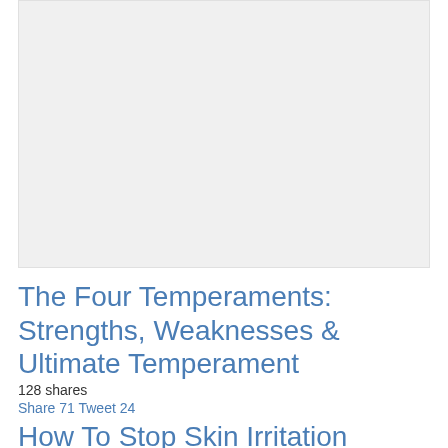[Figure (other): Large light gray placeholder image area at top of page]
The Four Temperaments: Strengths, Weaknesses & Ultimate Temperament
128 shares
Share 71 Tweet 24
How To Stop Skin Irritation From Using